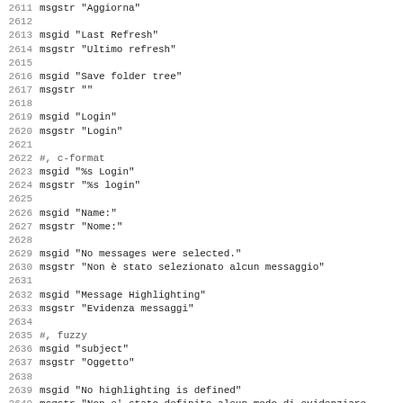2611 msgstr "Aggiorna"
2612
2613 msgid "Last Refresh"
2614 msgstr "Ultimo refresh"
2615
2616 msgid "Save folder tree"
2617 msgstr ""
2618
2619 msgid "Login"
2620 msgstr "Login"
2621
2622 #, c-format
2623 msgid "%s Login"
2624 msgstr "%s login"
2625
2626 msgid "Name:"
2627 msgstr "Nome:"
2628
2629 msgid "No messages were selected."
2630 msgstr "Non è stato selezionato alcun messaggio"
2631
2632 msgid "Message Highlighting"
2633 msgstr "Evidenza messaggi"
2634
2635 #, fuzzy
2636 msgid "subject"
2637 msgstr "Oggetto"
2638
2639 msgid "No highlighting is defined"
2640 msgstr "Non e' stato definito alcun modo di evidenziare"
2641
2642 msgid "Identifying name"
2643 msgstr "Identificazione del nome"